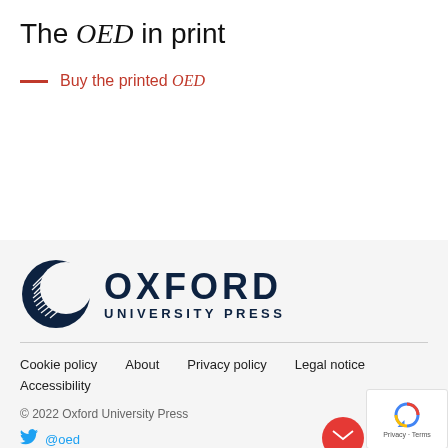The OED in print
Buy the printed OED
[Figure (logo): Oxford University Press logo with circular feather emblem and text OXFORD UNIVERSITY PRESS in dark navy]
Cookie policy   About   Privacy policy   Legal notice   Accessibility   © 2022 Oxford University Press   @oed